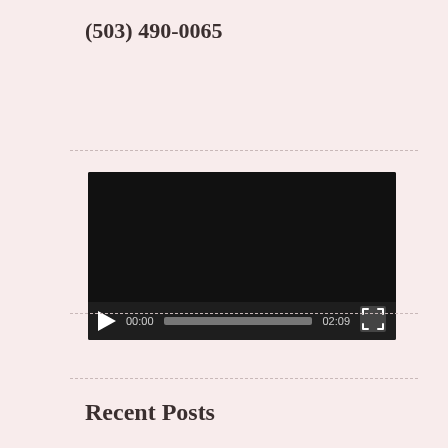(503) 490-0065
[Figure (screenshot): Embedded video player with dark background, play button, progress bar showing 00:00 and 02:09 timestamps, and fullscreen button]
Recent Posts